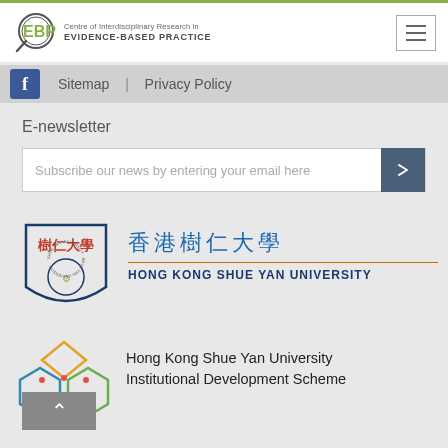[Figure (logo): EBP Centre of Interdisciplinary Research in Evidence-Based Practice logo with magnifying glass circle]
[Figure (logo): Hamburger menu icon button]
[Figure (logo): Facebook icon]
Sitemap  |  Privacy Policy
E-newsletter
Subscribe our news by entering your email here
[Figure (logo): Hong Kong Shue Yan University shield logo with Chinese characters]
香港樹仁大學 HONG KONG SHUE YAN UNIVERSITY
[Figure (logo): Hong Kong Shue Yan University Institutional Development Scheme geometric hexagon logo]
Hong Kong Shue Yan University Institutional Development Scheme
[Figure (other): Back to top arrow button]